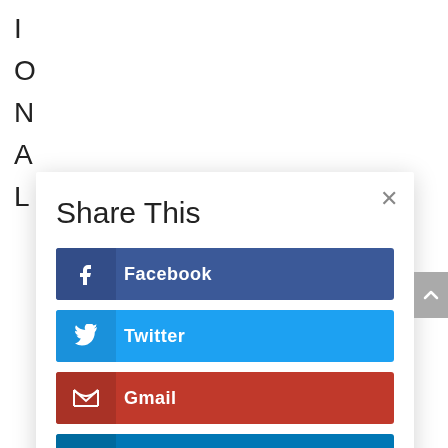I
O
N
A
L
Share This
Facebook
Twitter
Gmail
LinkedIn